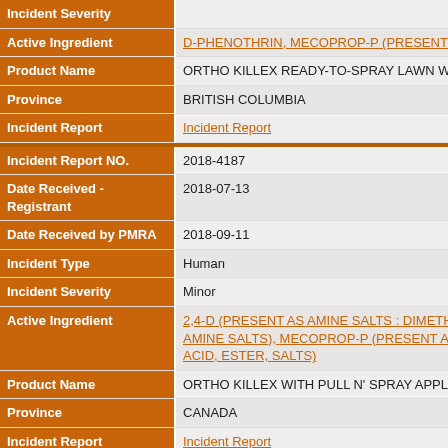| Field | Value |
| --- | --- |
| Incident Severity |  |
| Active Ingredient | D-PHENOTHRIN, MECOPROP-P (PRESENT A... |
| Product Name | ORTHO KILLEX READY-TO-SPRAY LAWN WE... |
| Province | BRITISH COLUMBIA |
| Incident Report | Incident Report |
| [DIVIDER] |  |
| Incident Report NO. | 2018-4187 |
| Date Received - Registrant | 2018-07-13 |
| Date Received by PMRA | 2018-09-11 |
| Incident Type | Human |
| Incident Severity | Minor |
| Active Ingredient | 2,4-D (PRESENT AS AMINE SALTS : DIMETHY AMINE SALTS), MECOPROP-P (PRESENT AS ACID, ESTER, SALTS) |
| Product Name | ORTHO KILLEX WITH PULL N' SPRAY APPLIC... |
| Province | CANADA |
| Incident Report | Incident Report |
| [DIVIDER] |  |
| Incident Report NO. | 2018-4186 |
| Date Received - Registrant | 2018-07-12 |
| Date Received by PMRA | 2018-09-11 |
| Incident Type | Human |
| Incident Severity | Minor |